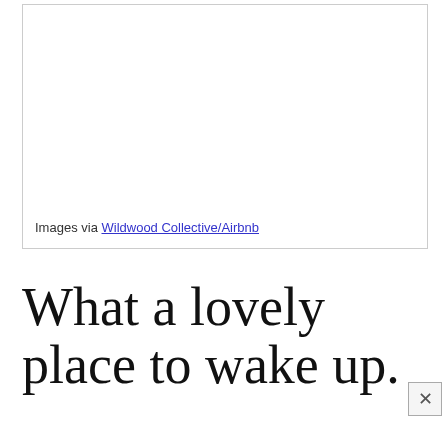[Figure (photo): A white empty image box with a thin border, representing a photo placeholder from Wildwood Collective/Airbnb]
Images via Wildwood Collective/Airbnb
What a lovely place to wake up.